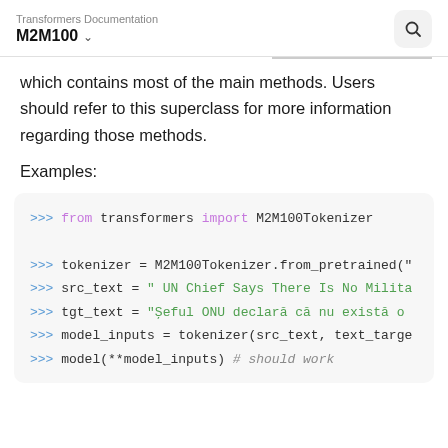Transformers Documentation
M2M100
which contains most of the main methods. Users should refer to this superclass for more information regarding those methods.
Examples:
[Figure (screenshot): Code block showing Python example: from transformers import M2M100Tokenizer, tokenizer = M2M100Tokenizer.from_pretrained(...), src_text = " UN Chief Says There Is No Milita...", tgt_text = "Șeful ONU declară că nu există o...", model_inputs = tokenizer(src_text, text_targe...), model(**model_inputs) # should work]